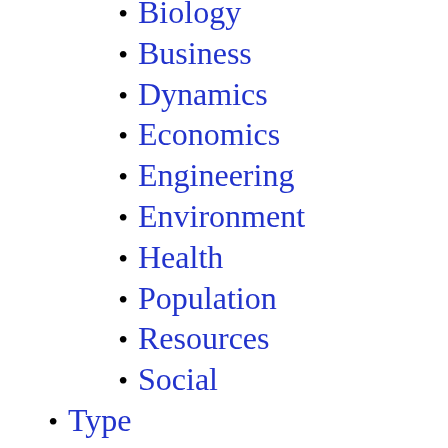Biology
Business
Dynamics
Economics
Engineering
Environment
Health
Population
Resources
Social
Type
Code
External
Macro
Molecule
Published